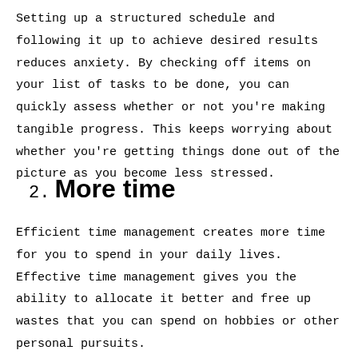Setting up a structured schedule and following it up to achieve desired results reduces anxiety. By checking off items on your list of tasks to be done, you can quickly assess whether or not you're making tangible progress. This keeps worrying about whether you're getting things done out of the picture as you become less stressed.
2. More time
Efficient time management creates more time for you to spend in your daily lives. Effective time management gives you the ability to allocate it better and free up wastes that you can spend on hobbies or other personal pursuits.